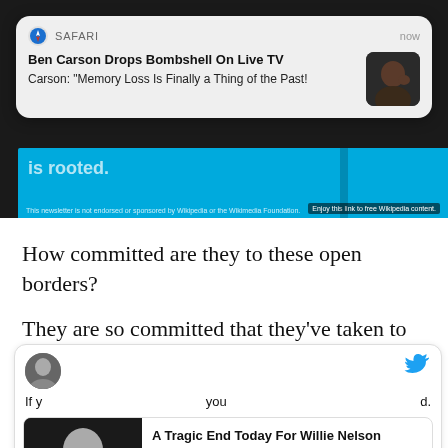[Figure (screenshot): Safari browser notification popup showing 'Ben Carson Drops Bombshell On Live TV' headline and 'Carson: "Memory Loss Is Finally a Thing of the Past!"' subtext, with a thumbnail of Ben Carson, labeled SAFARI and timestamped 'now']
[Figure (screenshot): Wikipedia banner strip partially visible behind the notification]
How committed are they to these open borders?
They are so committed that they’ve taken to demonizing ICE.
[Figure (screenshot): Twitter embed card with an advertisement overlay showing 'A Tragic End Today For Willie Nelson' with 'Breaking News' label, and partial tweet text 'If y... you... d.']